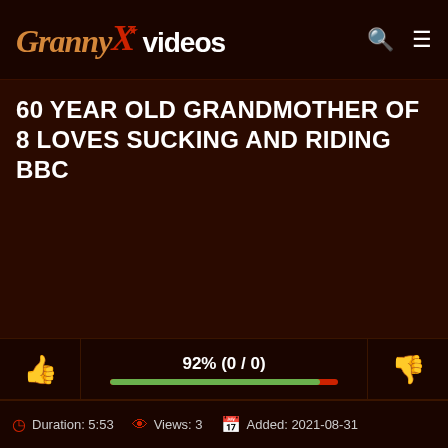GrannyXvideos
60 YEAR OLD GRANDMOTHER OF 8 LOVES SUCKING AND RIDING BBC
[Figure (other): Rating bar with thumbs up (green), 92% (0/0) rating display with green/red progress bar, and thumbs down (red)]
Duration: 5:53   Views: 3   Added: 2021-08-31